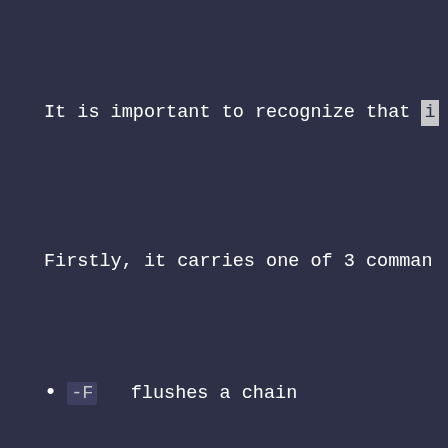It is important to recognize that i
Firstly, it carries one of 3 command
-F   flushes a chain